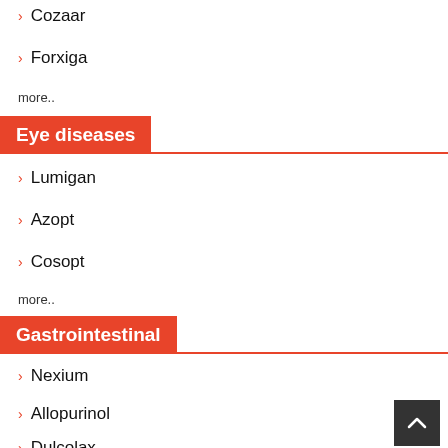Cozaar
Forxiga
more..
Eye diseases
Lumigan
Azopt
Cosopt
more..
Gastrointestinal
Nexium
Allopurinol
Dulcolax